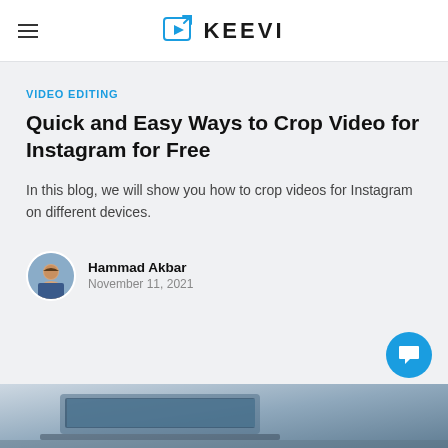KEEVI
VIDEO EDITING
Quick and Easy Ways to Crop Video for Instagram for Free
In this blog, we will show you how to crop videos for Instagram on different devices.
Hammad Akbar
November 11, 2021
[Figure (photo): Laptop with video editing software on screen, partial view at bottom of page]